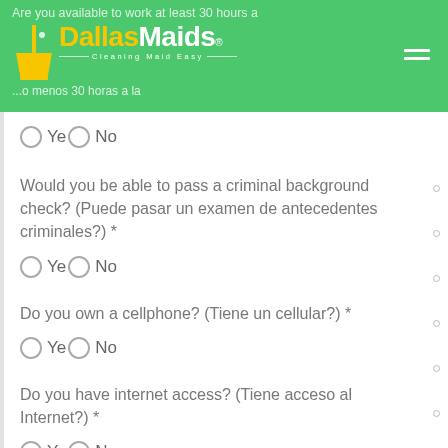Are you available to work at least 30 hours a ... / ...o menos 30 horas a la ...
[Figure (logo): Dallas Maids logo with broom icon and tagline 'Cleaning Maid Easy']
○ Yes ○ No
Would you be able to pass a criminal background check? (Puede pasar un examen de antecedentes criminales?) *
○ Yes ○ No
Do you own a cellphone? (Tiene un cellular?) *
○ Yes ○ No
Do you have internet access? (Tiene acceso al Internet?) *
○ Yes ○ No